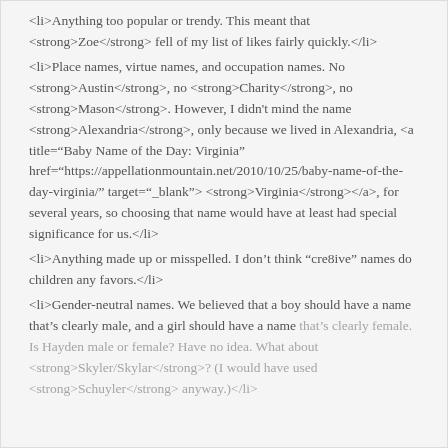<li>Anything too popular or trendy. This meant that <strong>Zoe</strong> fell of my list of likes fairly quickly.</li>
<li>Place names, virtue names, and occupation names. No <strong>Austin</strong>, no <strong>Charity</strong>, no <strong>Mason</strong>. However, I didn't mind the name <strong>Alexandria</strong>, only because we lived in Alexandria, <a title="Baby Name of the Day: Virginia" href="https://appellationmountain.net/2010/10/25/baby-name-of-the-day-virginia/" target="_blank"><strong>Virginia</strong></a>, for several years, so choosing that name would have at least had special significance for us.</li>
<li>Anything made up or misspelled. I don't think “cre8ive” names do children any favors.</li>
<li>Gender-neutral names. We believed that a boy should have a name that’s clearly male, and a girl should have a name that’s clearly female. Is Hayden male or female? Have no idea. What about <strong>Skyler/Skylar</strong>? (I would have used <strong>Schuyler</strong> anyway.)</li>